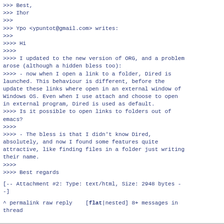>>> Best,
>>> Ihor
>>>
>>> Ypo <ypuntot@gmail.com> writes:
>>>
>>>> Hi
>>>>
>>>> I updated to the new version of ORG, and a problem arose (although a hidden bless too):
>>>> - now when I open a link to a folder, Dired is launched. This behaviour is different, before the update these links where open in an external window of Windows OS. Even when I use attach and choose to open in external program, Dired is used as default.
>>>> Is it possible to open links to folders out of emacs?
>>>>
>>>> - The bless is that I didn't know Dired, absolutely, and now I found some features quite attractive, like finding files in a folder just writing their name.
>>>>
>>>> Best regards
[-- Attachment #2: Type: text/html, Size: 2948 bytes --]
^ permalink raw reply   [flat|nested] 8+ messages in thread